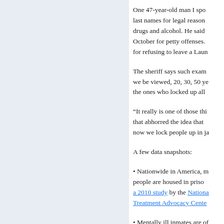One 47-year-old man I spo last names for legal reason drugs and alcohol. He said October for petty offenses. for refusing to leave a Laun
The sheriff says such exam we be viewed, 20, 30, 50 ye the ones who locked up all
“It really is one of those thi that abhorred the idea that now we lock people up in ja
A few data snapshots:
• Nationwide in America, m people are housed in priso a 2010 study by the Nationa Treatment Advocacy Cente
• Mentally ill inmates are of disciplined because of trou likely than other prisoners.